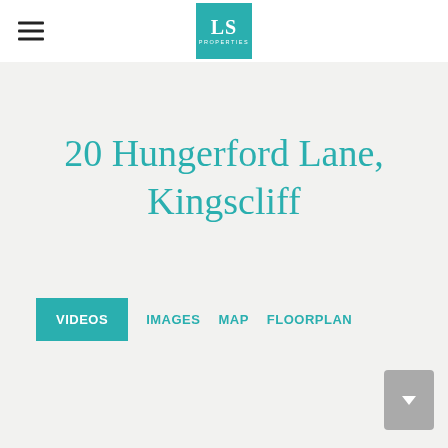LS Properties
20 Hungerford Lane, Kingscliff
VIDEOS  IMAGES  MAP  FLOORPLAN